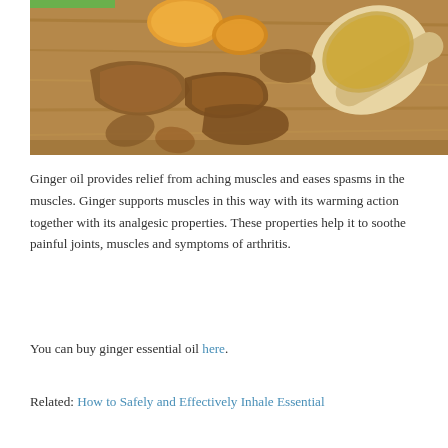[Figure (photo): Dried ginger pieces and ground ginger powder in a wooden spoon on a wooden surface]
Ginger oil provides relief from aching muscles and eases spasms in the muscles. Ginger supports muscles in this way with its warming action together with its analgesic properties. These properties help it to soothe painful joints, muscles and symptoms of arthritis.
You can buy ginger essential oil here.
Related: How to Safely and Effectively Inhale Essential